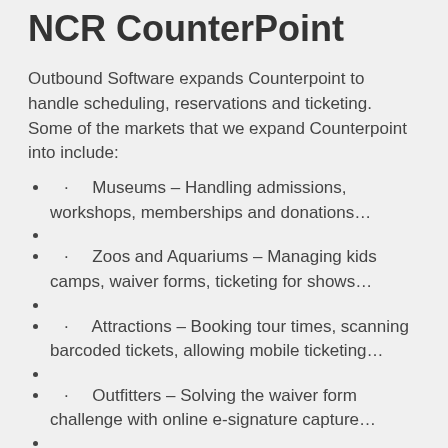NCR CounterPoint
Outbound Software expands Counterpoint to handle scheduling, reservations and ticketing. Some of the markets that we expand Counterpoint into include:
· Museums – Handling admissions, workshops, memberships and donations…
· Zoos and Aquariums – Managing kids camps, waiver forms, ticketing for shows…
· Attractions – Booking tour times, scanning barcoded tickets, allowing mobile ticketing…
· Outfitters – Solving the waiver form challenge with online e-signature capture…